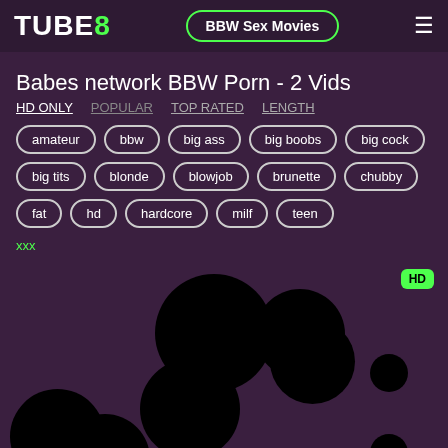TUBE8 | BBW Sex Movies
Babes network BBW Porn - 2 Vids
HD ONLY  POPULAR  TOP RATED  LENGTH
amateur
bbw
big ass
big boobs
big cock
big tits
blonde
blowjob
brunette
chubby
fat
hd
hardcore
milf
teen
xxx
[Figure (screenshot): Video thumbnail grid with black circular blurred areas on dark purple background, HD badge in top right corner]